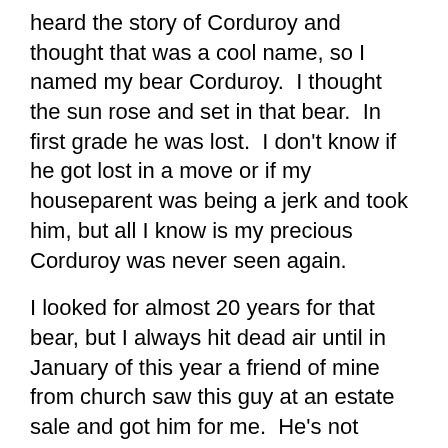heard the story of Corduroy and thought that was a cool name, so I named my bear Corduroy.  I thought the sun rose and set in that bear.  In first grade he was lost.  I don't know if he got lost in a move or if my houseparent was being a jerk and took him, but all I know is my precious Corduroy was never seen again.
I looked for almost 20 years for that bear, but I always hit dead air until in January of this year a friend of mine from church saw this guy at an estate sale and got him for me.  He's not exactly the same bear that I had.  My bear's mouth didn't move and this guy's does.  He also has a big ol' hard oval thing in his head that I don't remember from my original Corduroy, but when I held him it was like he had the spirit of my departed bear.  I know that probably sounds weird, but I just felt like I had him back.
He didn't work at first and I had several people look at him, but they were afraid to take him apart